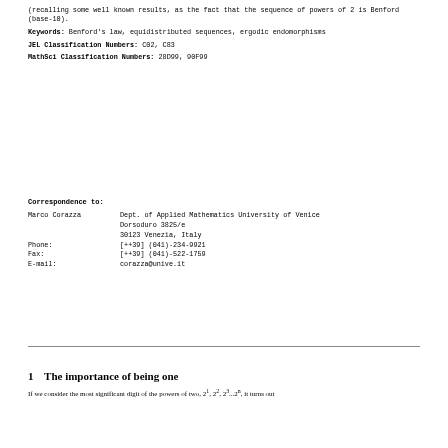(recalling some well known results, as the fact that the sequence of powers of 2 is Benford (base-10).
Keywords: Benford's law, equidistributed sequences, ergodic endomorphisms
JEL Classification Numbers: C02, C83
MathSci Classification Numbers: 28D99, 90F99
Correspondence to:
| Marco Corazza | Dept. of Applied Mathematics University of Venice
Dorsoduro 3825/e
30123 Venezia, Italy |
| Phone: | [++39] (041)-234-9921 |
| Fax: | [++39] (041)-522-1759 |
| E-mail: | corazza@unive.it |
1   The importance of being one
If we consider the most significant digit of the powers of two, 2¹, 2², 2³...2ⁿ, it turns out